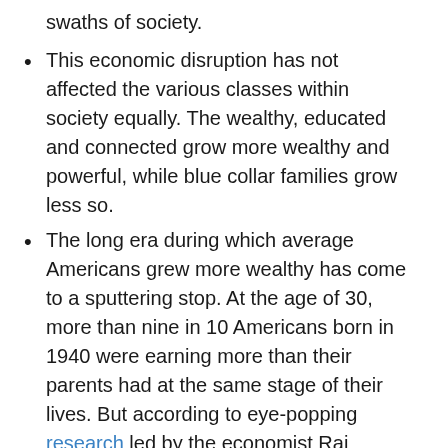swaths of society.
This economic disruption has not affected the various classes within society equally. The wealthy, educated and connected grow more wealthy and powerful, while blue collar families grow less so.
The long era during which average Americans grew more wealthy has come to a sputtering stop. At the age of 30, more than nine in 10 Americans born in 1940 were earning more than their parents had at the same stage of their lives. But according to eye-popping research led by the economist Raj Chetty, among those Americans born in the early 1980s, only half earn more than their parents did at a similar age.
Lobbying has fundamentally warped how public policy is formed, and it does so in favor of large